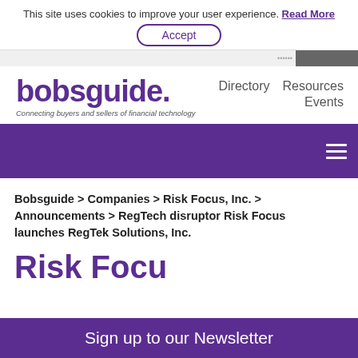This site uses cookies to improve your user experience. Read More
Accept
[Figure (screenshot): Gray banner with small thumbnail image on right side]
bobsguide.
Connecting buyers and sellers of financial technology
Directory  Resources  Events
[Figure (other): Purple navigation bar with hamburger menu icon]
Bobsguide > Companies > Risk Focus, Inc. > Announcements > RegTech disruptor Risk Focus launches RegTek Solutions, Inc.
Sign up to our Newsletter